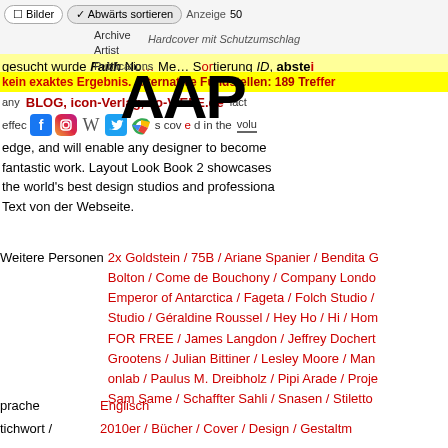Bilder | Abwarts sortieren | Anzeige 50
Hardcover mit Schutzumschlag
Volltext-Suche | Erweiterte Suche | Neue Eintrage | Aktuell
[Figure (logo): AAP Archive Artist Publications logo with large AAP text]
gesucht wurde Faith No... Me... Sortierung ID, abstei
kein exaktes Ergebnis. Alternative Fundstellen: 189 Treffer
BLOG, icon-Verlag, so-VIELE.de
any layout, as well as insights into the factors that effect printing. The series covered in the volume edge, and will enable any designer to become fantastic work. Layout Look Book 2 showcases the world's best design studios and professionals. Text von der Webseite.
Weitere Personen 2x Goldstein / 75B / Ariane Spanier / Bendita G Bolton / Come de Bouchony / Company Londo Emperor of Antarctica / Fageta / Folch Studio / Studio / Geraldine Roussel / Hey Ho / Hi / Hom FOR FREE / James Langdon / Jeffrey Dochert Grootens / Julian Bittiner / Lesley Moore / Man onlab / Paulus M. Dreibholz / Pipi Arade / Proje Sam Same / Schaffter Sahli / Snasen / Stiletto / The Map Office / Tomato / Triboro Design / Un c'est mieux
Sprache: Englisch
Stichwort / 2010er / Bucher / Cover / Design / Gestaltm